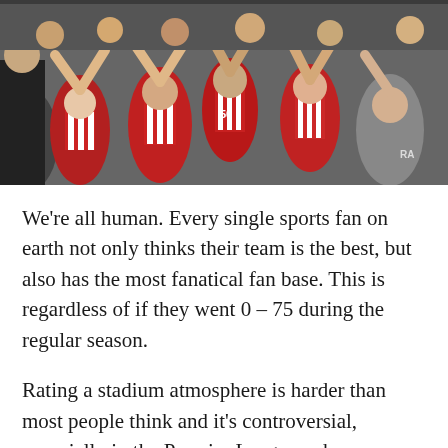[Figure (photo): Crowd of football fans in red and white striped shirts celebrating, arms raised, cheering at a stadium.]
We're all human. Every single sports fan on earth not only thinks their team is the best, but also has the most fanatical fan base. This is regardless of if they went 0 – 75 during the regular season.
Rating a stadium atmosphere is harder than most people think and it's controversial, especially in the Premier League, where football is a way of life.
There's also the problem of relegation. The harsh reality is, if your team is horrendous but has an amazing…